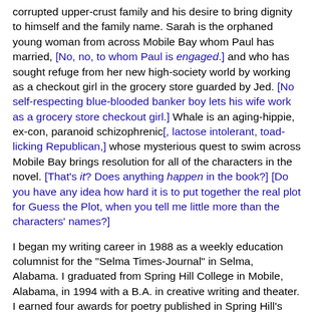corrupted upper-crust family and his desire to bring dignity to himself and the family name. Sarah is the orphaned young woman from across Mobile Bay whom Paul has married, [No, no, to whom Paul is engaged.] and who has sought refuge from her new high-society world by working as a checkout girl in the grocery store guarded by Jed. [No self-respecting blue-blooded banker boy lets his wife work as a grocery store checkout girl.] Whale is an aging-hippie, ex-con, paranoid schizophrenic[, lactose intolerant, toad-licking Republican,] whose mysterious quest to swim across Mobile Bay brings resolution for all of the characters in the novel. [That's it? Does anything happen in the book?] [Do you have any idea how hard it is to put together the real plot for Guess the Plot, when you tell me little more than the characters' names?]
I began my writing career in 1988 as a weekly education columnist for the "Selma Times-Journal" in Selma, Alabama. I graduated from Spring Hill College in Mobile, Alabama, in 1994 with a B.A. in creative writing and theater. I earned four awards for poetry published in Spring Hill's literary magazine, "The Motley." After teaching and taking classes in the English